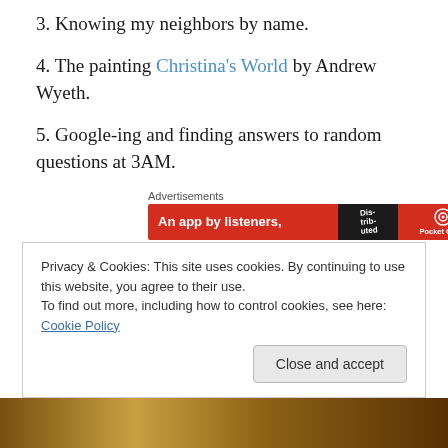3. Knowing my neighbors by name.
4. The painting Christina's World by Andrew Wyeth.
5. Google-ing and finding answers to random questions at 3AM.
[Figure (screenshot): Advertisements banner for Pocket Casts app: red background with text 'An app by listeners,' and dark overlay with 'Distributed' text and Pocket Casts logo on right.]
These five never fail me.
But, from the moment I walked into Bellavitae Restaurant
Privacy & Cookies: This site uses cookies. By continuing to use this website, you agree to their use.
To find out more, including how to control cookies, see here: Cookie Policy
Close and accept